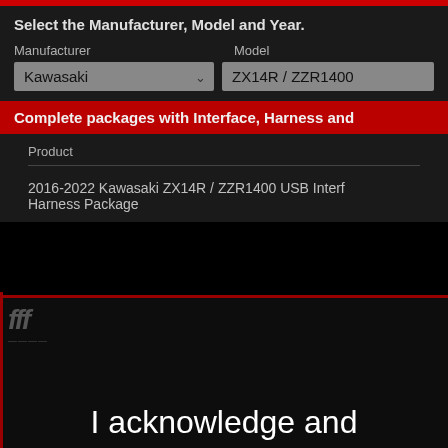Select the Manufacturer, Model and Year.
Manufacturer
Model
Kawasaki
ZX14R / ZZR1400
Complete packages with Interface, Harness and
Product
2016-2022 Kawasaki ZX14R / ZZR1400 USB Interface Harness Package
[Figure (logo): Dark background with a stylized logo in grey/dark tones]
I acknowledge and